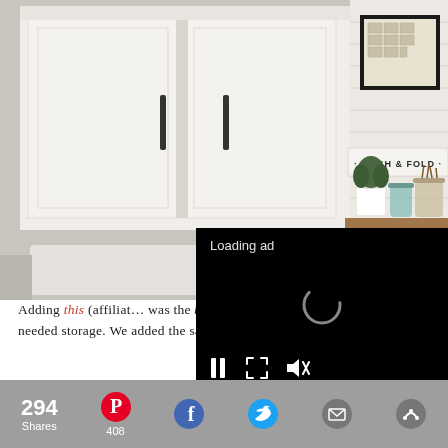[Figure (photo): Laundry room with white shaker cabinets with black bar handles on the left, and a shiplap wall on the right with a framed artwork, a 'WASH & FOLD' letterboard sign, decorative plants and jars on a wood shelf. A utility sink is partially visible in the lower left.]
[Figure (screenshot): Video ad overlay with black background showing 'Loading ad' text, a spinning loading indicator, and video controls: pause button, fullscreen button, and mute button.]
Adding this (affiliate) was the best decision ever. Not only does it add much needed storage. We added the same hardware that is o…
[Figure (infographic): Share bar at the bottom showing '294 Shares', Pinterest icon with '408', Facebook icon, Twitter icon, email icon, and more options icon.]